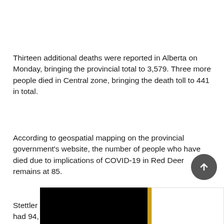Thirteen additional deaths were reported in Alberta on Monday, bringing the provincial total to 3,579. Three more people died in Central zone, bringing the death toll to 441 in total.
According to geospatial mapping on the provincial government's website, the number of people who have died due to implications of COVID-19 in Red Deer remains at 85.
Stettler County had 846 active cases, Clearwater County had 94, Mountain View County had 91, Red Deer County
[Figure (other): Partial bottom bar graphic with black section, gold divider, and white section, partially visible at bottom of page]